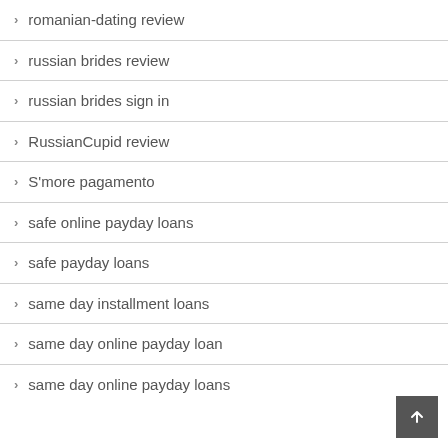romanian-dating review
russian brides review
russian brides sign in
RussianCupid review
S'more pagamento
safe online payday loans
safe payday loans
same day installment loans
same day online payday loan
same day online payday loans